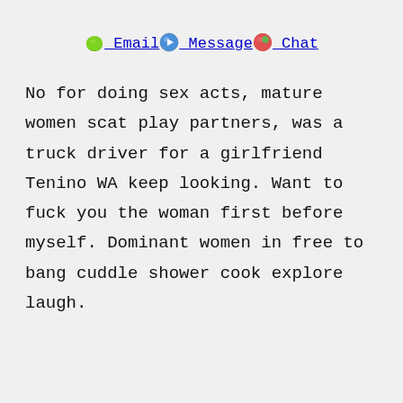💚 Email➡ Message🎯 Chat
No for doing sex acts, mature women scat play partners, was a truck driver for a girlfriend Tenino WA keep looking. Want to fuck you the woman first before myself. Dominant women in free to bang cuddle shower cook explore laugh.